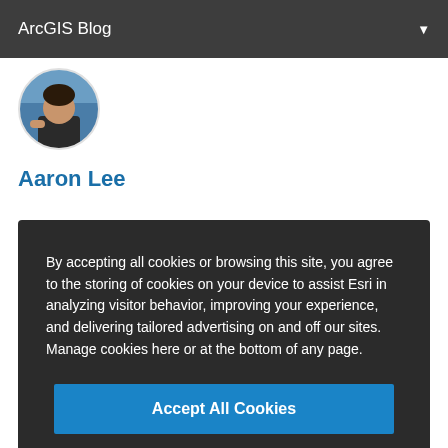ArcGIS Blog
[Figure (photo): Circular profile photo of Aaron Lee showing a person in a dark shirt with a blue/water background]
Aaron Lee
By accepting all cookies or browsing this site, you agree to the storing of cookies on your device to assist Esri in analyzing visitor behavior, improving your experience, and delivering tailored advertising on and off our sites. Manage cookies here or at the bottom of any page.
Accept All Cookies
Cookies Settings